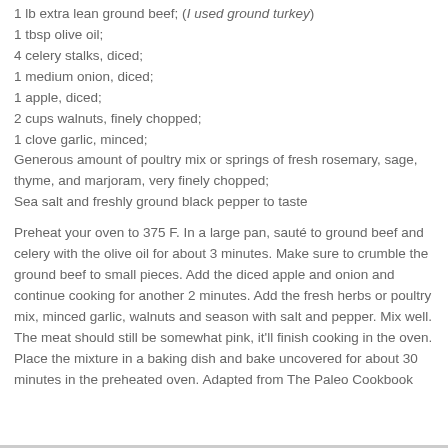1 lb extra lean ground beef; (I used ground turkey)
1 tbsp olive oil;
4 celery stalks, diced;
1 medium onion, diced;
1 apple, diced;
2 cups walnuts, finely chopped;
1 clove garlic, minced;
Generous amount of poultry mix or springs of fresh rosemary, sage, thyme, and marjoram, very finely chopped;
Sea salt and freshly ground black pepper to taste
Preheat your oven to 375 F. In a large pan, sauté to ground beef and celery with the olive oil for about 3 minutes. Make sure to crumble the ground beef to small pieces. Add the diced apple and onion and continue cooking for another 2 minutes. Add the fresh herbs or poultry mix, minced garlic, walnuts and season with salt and pepper. Mix well. The meat should still be somewhat pink, it'll finish cooking in the oven. Place the mixture in a baking dish and bake uncovered for about 30 minutes in the preheated oven. Adapted from The Paleo Cookbook